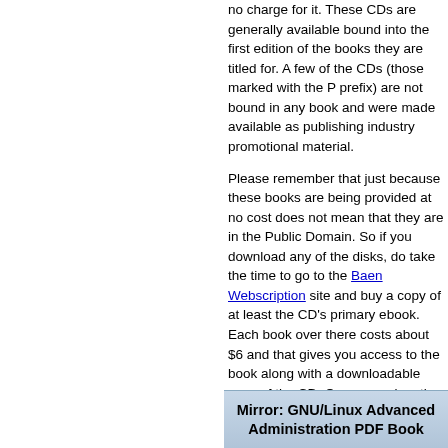no charge for it. These CDs are generally available bound into the first edition of the books they are titled for. A few of the CDs (those marked with the P prefix) are not bound in any book and were made available as publishing industry promotional material.
Please remember that just because these books are being provided at no cost does not mean that they are in the Public Domain. So if you download any of the disks, do take the time to go to the Baen Webscription site and buy a copy of at least the CD's primary ebook. Each book over there costs about $6 and that gives you access to the book along with a downloadable copy of the CD. Or you can buy the entire Webscription month that the CD accompanies for $15.
This site is not associated with Baen Publishing Enterprises. (Obviously. But just wanted to make sure I make that very clear on this). The contents of the CD's have been made freely available and I (Suramya) don't make any profit from this or any sales of Baen Books. The zipped images of the CD's were downloaded from The Fifth Imperium where all the same content is hosted along with other extra's.
Download Link:
You can view and download the Baen CD Contents here: Baen CD Mirror.
Mirror: GNU/Linux Advanced Administration PDF Book